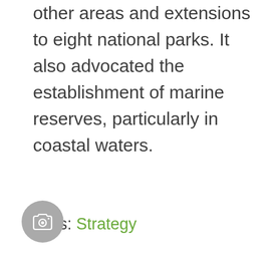other areas and extensions to eight national parks. It also advocated the establishment of marine reserves, particularly in coastal waters.
Tags: Strategy
NEWS  21 FEBRUARY 2015
[Figure (other): Camera icon button (circular grey button with camera icon)]